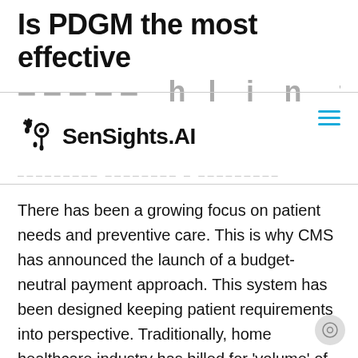Is PDGM the most effective
payment solution for the
[Figure (logo): SenSights.AI logo with footprint icon]
There has been a growing focus on patient needs and preventive care. This is why CMS has announced the launch of a budget-neutral payment approach. This system has been designed keeping patient requirements into perspective. Traditionally, home healthcare industry has billed for ‘volume’ of care. However, recent changes to Medicare reimbursements policies will compel home healthcare ...